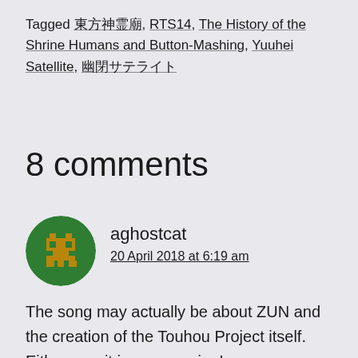Tagged 東方神霊廟, RTS14, The History of the Shrine Humans and Button-Mashing, Yuuhei Satellite, 幽閉サテライト
8 comments
aghostcat
20 April 2018 at 6:19 am
The song may actually be about ZUN and the creation of the Touhou Project itself. Either way it is very moving!